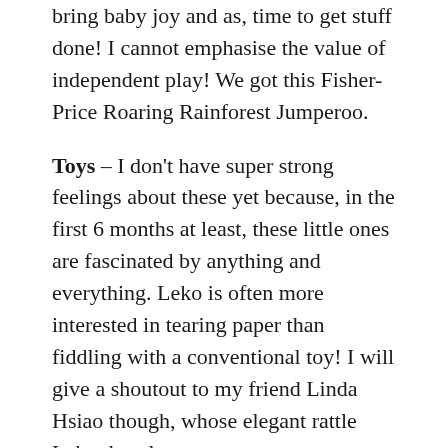bring baby joy and as, time to get stuff done! I cannot emphasise the value of independent play! We got this Fisher-Price Roaring Rainforest Jumperoo.
Toys – I don't have super strong feelings about these yet because, in the first 6 months at least, these little ones are fascinated by anything and everything. Leko is often more interested in tearing paper than fiddling with a conventional toy! I will give a shoutout to my friend Linda Hsiao though, whose elegant rattle Leko does love.
Swim nappy – I LOVE the water and I'm so happy that my baby does too. Swimming was always going to be on the cards for my little